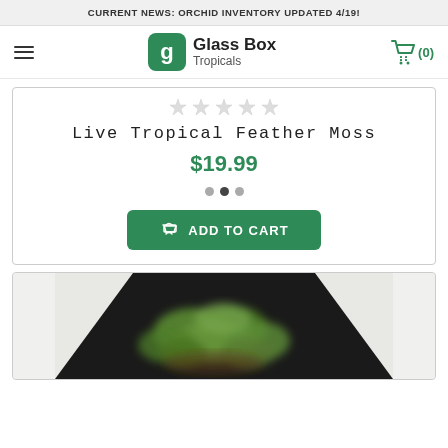CURRENT NEWS: ORCHID INVENTORY UPDATED 4/19!
[Figure (logo): Glass Box Tropicals logo with green rounded square icon containing a leaf/G shape, and brand name 'Glass Box Tropicals']
Live Tropical Feather Moss
$19.99
[Figure (other): ADD TO CART button with shopping cart icon]
[Figure (photo): Blurred photo of green plants/moss in a dark container, viewed from above at an angle]